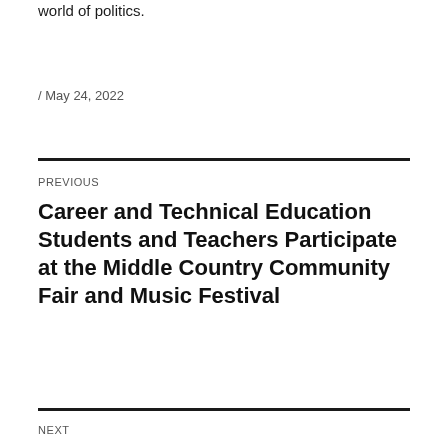world of politics.
/ May 24, 2022
PREVIOUS
Career and Technical Education Students and Teachers Participate at the Middle Country Community Fair and Music Festival
NEXT